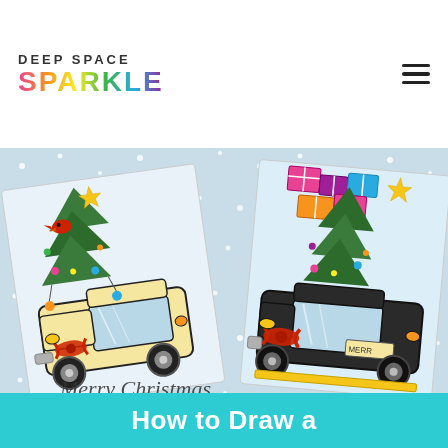DEEP SPACE SPARKLE
[Figure (photo): Two children's drawings of vintage trucks carrying Christmas trees in snowy scenes. Left truck is yellow/cream colored with a red cardinal bird and Christmas tree on top, decorated with lights and a red bow on the back. Right truck is dark/black colored with wrapped gifts and a Christmas tree on top, decorated with lights and a red bow. Both drawings have a light blue snowy background with white dots representing snow. Below the trucks there is cursive writing partially visible.]
How to Draw a